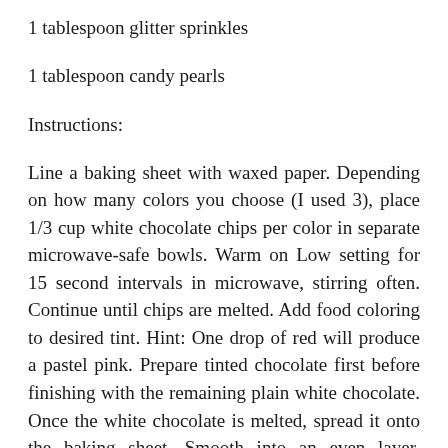1 tablespoon glitter sprinkles
1 tablespoon candy pearls
Instructions:
Line a baking sheet with waxed paper. Depending on how many colors you choose (I used 3), place 1/3 cup white chocolate chips per color in separate microwave-safe bowls. Warm on Low setting for 15 second intervals in microwave, stirring often. Continue until chips are melted. Add food coloring to desired tint. Hint: One drop of red will produce a pastel pink. Prepare tinted chocolate first before finishing with the remaining plain white chocolate. Once the white chocolate is melted, spread it onto the baking sheet. Smooth into an even layer, approximately 1/4" thick. Working quickly, dot tinted colors over the white chocolate in a random pattern. Take a wooden skewer, or toothpick, and drag it through the colors creating swirls. Next, scatter the rainbow sprinkles, glitter sprinkles, and candy pearls on top. Refrigerate baking sheet for 30 minutes, or until firm. Once set, break the bark into pieces, reserving a